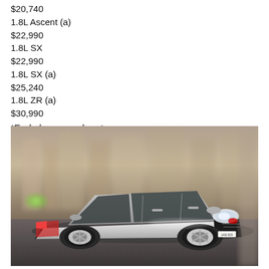$20,740
1.8L Ascent (a)
$22,990
1.8L SX
$22,990
1.8L SX (a)
$25,240
1.8L ZR (a)
$30,990
*Excludes on-road costs.
[Figure (photo): Toyota Corolla silver sedan driving in an urban setting with blurred city background, motion blur effect, front three-quarter view]